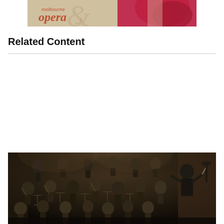[Figure (logo): Melbourne Opera logo with decorative ampersand on a beige and red background with partial view of red dress]
Related Content
[Figure (photo): Orchestra performance photo showing conductor from behind facing a large orchestra ensemble with musicians playing string and other instruments in a concert hall setting]